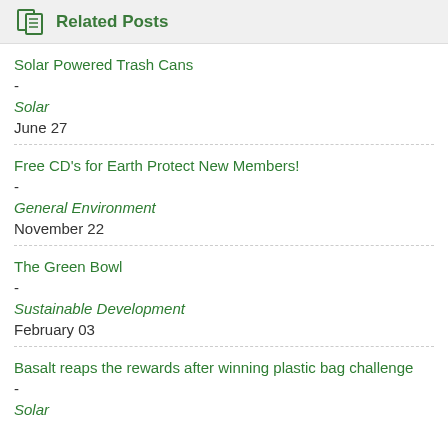Related Posts
Solar Powered Trash Cans
-
Solar
June 27
Free CD's for Earth Protect New Members!
-
General Environment
November 22
The Green Bowl
-
Sustainable Development
February 03
Basalt reaps the rewards after winning plastic bag challenge
-
Solar